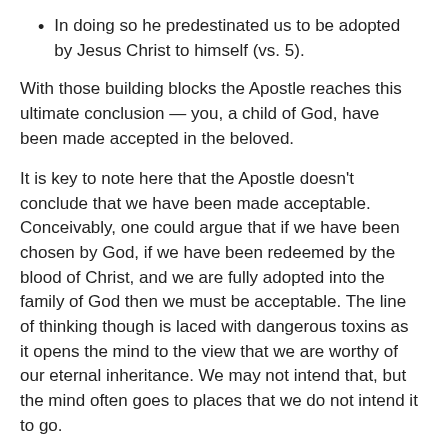In doing so he predestinated us to be adopted by Jesus Christ to himself (vs. 5).
With those building blocks the Apostle reaches this ultimate conclusion — you, a child of God, have been made accepted in the beloved.
It is key to note here that the Apostle doesn't conclude that we have been made acceptable. Conceivably, one could argue that if we have been chosen by God, if we have been redeemed by the blood of Christ, and we are fully adopted into the family of God then we must be acceptable. The line of thinking though is laced with dangerous toxins as it opens the mind to the view that we are worthy of our eternal inheritance. We may not intend that, but the mind often goes to places that we do not intend it to go.